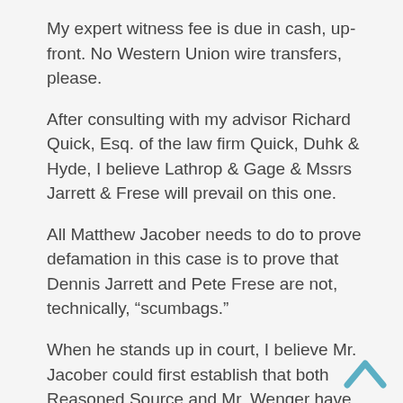My expert witness fee is due in cash, up-front. No Western Union wire transfers, please.
After consulting with my advisor Richard Quick, Esq. of the law firm Quick, Duhk & Hyde, I believe Lathrop & Gage & Mssrs Jarrett & Frese will prevail on this one.
All Matthew Jacober needs to do to prove defamation in this case is to prove that Dennis Jarrett and Pete Frese are not, technically, “scumbags.”
When he stands up in court, I believe Mr. Jacober could first establish that both Reasoned Source and Mr. Wenger have maintained that Jarrett & Frese F-ed over both Stratus master and unit franchisees. He may even provide additional